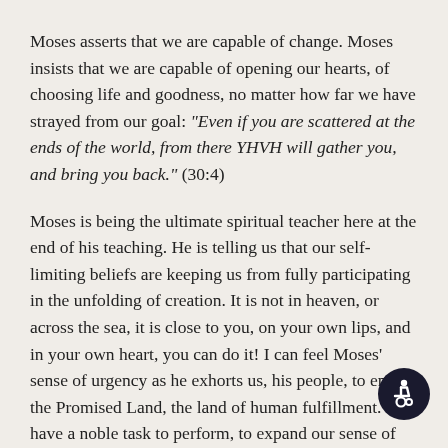Moses asserts that we are capable of change. Moses insists that we are capable of opening our hearts, of choosing life and goodness, no matter how far we have strayed from our goal: “Even if you are scattered at the ends of the world, from there YHVH will gather you, and bring you back.” (30:4)

Moses is being the ultimate spiritual teacher here at the end of his teaching. He is telling us that our self-limiting beliefs are keeping us from fully participating in the unfolding of creation. It is not in heaven, or across the sea, it is close to you, on your own lips, and in your own heart, you can do it! I can feel Moses’ sense of urgency as he exhorts us, his people, to enter the Promised Land, the land of human fulfillment. We have a noble task to perform, to expand our sense of the possible. We are to do teshuvah, and align our
[Figure (other): Accessibility icon — white wheelchair symbol on dark navy circular background, positioned bottom-right corner]